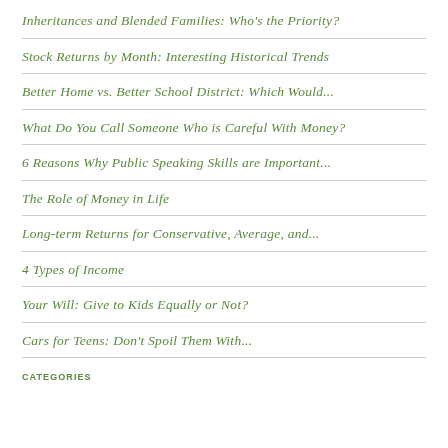Inheritances and Blended Families: Who's the Priority?
Stock Returns by Month: Interesting Historical Trends
Better Home vs. Better School District: Which Would...
What Do You Call Someone Who is Careful With Money?
6 Reasons Why Public Speaking Skills are Important...
The Role of Money in Life
Long-term Returns for Conservative, Average, and...
4 Types of Income
Your Will: Give to Kids Equally or Not?
Cars for Teens: Don't Spoil Them With...
CATEGORIES